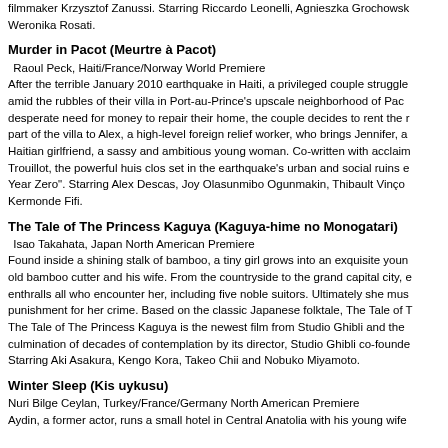filmmaker Krzysztof Zanussi. Starring Riccardo Leonelli, Agnieszka Grochowska, Weronika Rosati.
Murder in Pacot (Meurtre à Pacot)
Raoul Peck, Haiti/France/Norway World Premiere
After the terrible January 2010 earthquake in Haiti, a privileged couple struggles amid the rubbles of their villa in Port-au-Prince's upscale neighborhood of Pacot. In desperate need for money to repair their home, the couple decides to rent the main part of the villa to Alex, a high-level foreign relief worker, who brings Jennifer, a Haitian girlfriend, a sassy and ambitious young woman. Co-written with acclaimed Trouillot, the powerful huis clos set in the earthquake's urban and social ruins e... Year Zero". Starring Alex Descas, Joy Olasunmibo Ogunmakin, Thibault Vinçon, Kermonde Fifi.
The Tale of The Princess Kaguya (Kaguya-hime no Monogatari)
Isao Takahata, Japan North American Premiere
Found inside a shining stalk of bamboo, a tiny girl grows into an exquisite young... old bamboo cutter and his wife. From the countryside to the grand capital city, e... enthralls all who encounter her, including five noble suitors. Ultimately she must... punishment for her crime. Based on the classic Japanese folktale, The Tale of T... The Tale of The Princess Kaguya is the newest film from Studio Ghibli and the... culmination of decades of contemplation by its director, Studio Ghibli co-founder... Starring Aki Asakura, Kengo Kora, Takeo Chii and Nobuko Miyamoto.
Winter Sleep (Kis uykusu)
Nuri Bilge Ceylan, Turkey/France/Germany North American Premiere
Aydin, a former actor, runs a small hotel in Central Anatolia with his young wife